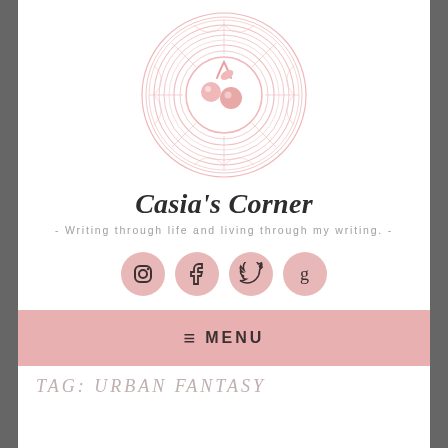[Figure (logo): Circular mandala-style logo in pink with a cherry/berry illustration in the center]
Casia's Corner
- Writing through life and living through my writing. -
[Figure (infographic): Four pink circular social media icons: Instagram, Facebook, Twitter, Goodreads]
≡ MENU
TAG: URBAN FANTASY